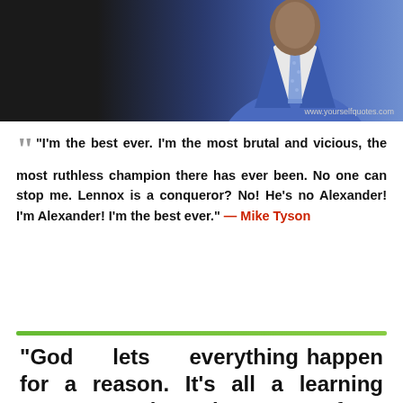[Figure (photo): Photo of a man in a blue suit with a floral tie against a dark background. Website watermark: www.yourselfquotes.com]
“I’m the best ever. I’m the most brutal and vicious, the most ruthless champion there has ever been. No one can stop me. Lennox is a conqueror? No! He’s no Alexander! I’m Alexander! I’m the best ever.” — Mike Tyson
“God lets everything happen for a reason. It’s all a learning process, and you have to go from one level to another.” — Mike Tyson